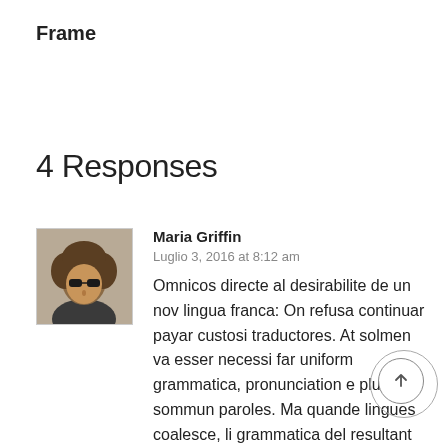Frame
4 Responses
[Figure (photo): Avatar photo of Maria Griffin – a person with curly hair and sunglasses]
Maria Griffin
Luglio 3, 2016 at 8:12 am
Omnicos directe al desirabilite de un nov lingua franca: On refusa continuar payar custosi traductores. At solmen va esser necessi far uniform grammatica, pronunciation e plu sommun paroles. Ma quande lingues coalesce, li grammatica del resultant lingue es plu simplic e regulari quam del coalescent lingues. Li nov lingua franca va esser plu simplic e regulari